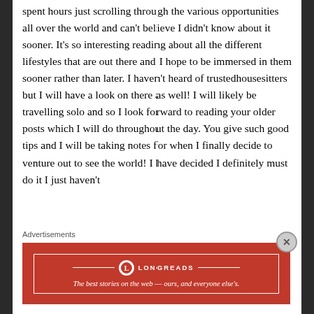spent hours just scrolling through the various opportunities all over the world and can't believe I didn't know about it sooner. It's so interesting reading about all the different lifestyles that are out there and I hope to be immersed in them sooner rather than later. I haven't heard of trustedhousesitters but I will have a look on there as well! I will likely be travelling solo and so I look forward to reading your older posts which I will do throughout the day. You give such good tips and I will be taking notes for when I finally decide to venture out to see the world! I have decided I definitely must do it I just haven't
Advertisements
[Figure (other): Longreads advertisement banner: red background with white border, Longreads logo (circle with L), and tagline 'The best stories on the web — ours, and everyone else's.']